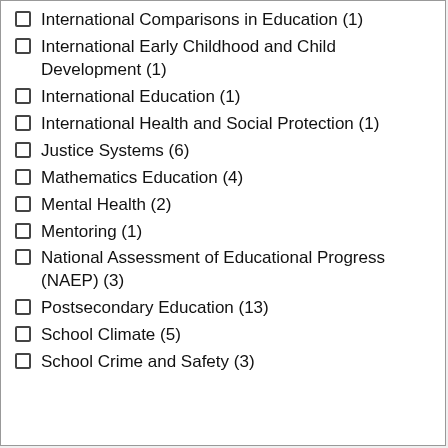International Comparisons in Education (1)
International Early Childhood and Child Development (1)
International Education (1)
International Health and Social Protection (1)
Justice Systems (6)
Mathematics Education (4)
Mental Health (2)
Mentoring (1)
National Assessment of Educational Progress (NAEP) (3)
Postsecondary Education (13)
School Climate (5)
School Crime and Safety (3)